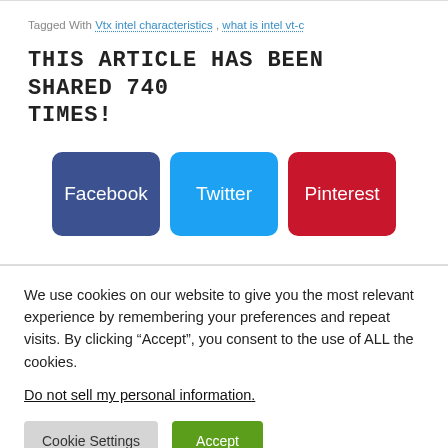Tagged With Vtx intel characteristics , what is intel vt-c
THIS ARTICLE HAS BEEN SHARED 740 TIMES!
[Figure (other): Three social share buttons: Facebook (dark blue), Twitter (light blue), Pinterest (red)]
We use cookies on our website to give you the most relevant experience by remembering your preferences and repeat visits. By clicking “Accept”, you consent to the use of ALL the cookies.
Do not sell my personal information.
Cookie Settings | Accept